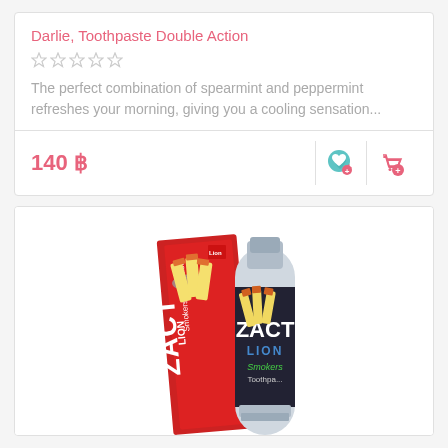Darlie, Toothpaste Double Action
The perfect combination of spearmint and peppermint refreshes your morning, giving you a cooling sensation...
140 ฿
[Figure (photo): ZACT Lion Smokers Toothpaste product photo showing box and tube]